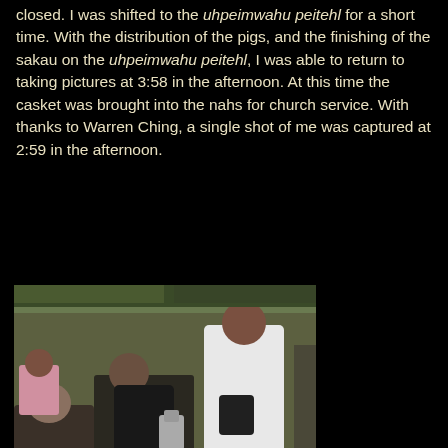closed. I was shifted to the uhpeimwahu peitehl for a short time. With the distribution of the pigs, and the finishing of the sakau on the uhpeimwahu peitehl, I was able to return to taking pictures at 3:58 in the afternoon. At this time the casket was brought into the nahs for church service. With thanks to Warren Ching, a single shot of me was captured at 2:59 in the afternoon.
[Figure (photo): Outdoor gathering scene with multiple people sitting and standing, including a person in white clothing with a bag]
The casket enters the nahs.
[Figure (photo): Person with white cap in foreground near a dark floral-patterned casket]